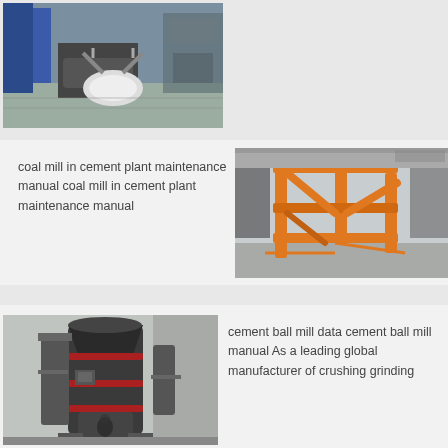[Figure (photo): Industrial machine or crane equipment in a factory/warehouse setting with blue structures visible]
coal mill in cement plant maintenance manual coal mill in cement plant maintenance manual
[Figure (photo): Orange industrial machine or frame structure on a factory floor with machinery in the background]
[Figure (photo): Large grey industrial vertical mill or grinding machine in a factory setting]
cement ball mill data cement ball mill manual As a leading global manufacturer of crushing grinding